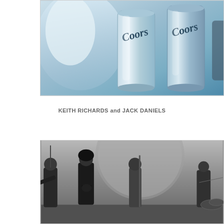[Figure (photo): Color photo showing Coors beer cans with a blue-tinted background, partially cropped at top of page]
KEITH RICHARDS and JACK DANIELS
[Figure (photo): Black and white photo of a rock band performing on stage, showing four musicians with guitars and drums]